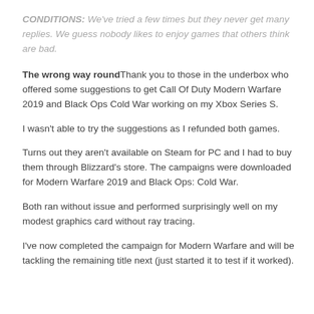CONDITIONS: We've tried a few times but they never get many replies. We guess nobody likes to enjoy games that others think are bad.
The wrong way round Thank you to those in the underbox who offered some suggestions to get Call Of Duty Modern Warfare 2019 and Black Ops Cold War working on my Xbox Series S.
I wasn't able to try the suggestions as I refunded both games.
Turns out they aren't available on Steam for PC and I had to buy them through Blizzard's store. The campaigns were downloaded for Modern Warfare 2019 and Black Ops: Cold War.
Both ran without issue and performed surprisingly well on my modest graphics card without ray tracing.
I've now completed the campaign for Modern Warfare and will be tackling the remaining title next (just started it to test if it worked).